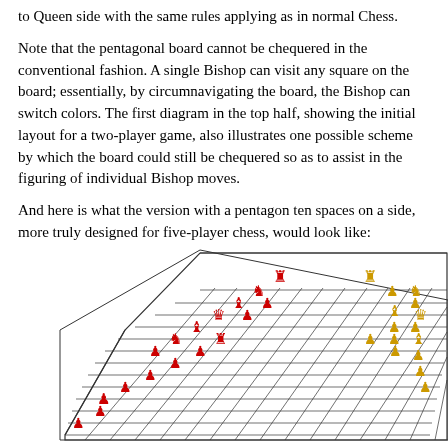to Queen side with the same rules applying as in normal Chess.
Note that the pentagonal board cannot be chequered in the conventional fashion. A single Bishop can visit any square on the board; essentially, by circumnavigating the board, the Bishop can switch colors. The first diagram in the top half, showing the initial layout for a two-player game, also illustrates one possible scheme by which the board could still be chequered so as to assist in the figuring of individual Bishop moves.
And here is what the version with a pentagon ten spaces on a side, more truly designed for five-player chess, would look like:
[Figure (illustration): A pentagonal chess board shown in isometric/perspective view with chess pieces placed on it. Red pieces occupy the left/upper sections and yellow pieces occupy the right sections of the board. The board is a five-sided pentagonal shape with white squares arranged in a grid pattern.]